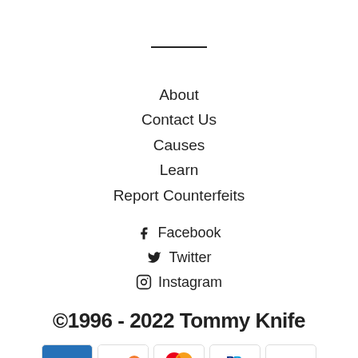[Figure (other): Horizontal divider line]
About
Contact Us
Causes
Learn
Report Counterfeits
Facebook
Twitter
Instagram
©1996 - 2022 Tommy Knife
[Figure (other): Payment method icons: AMEX, Discover, Mastercard, PayPal, Visa]